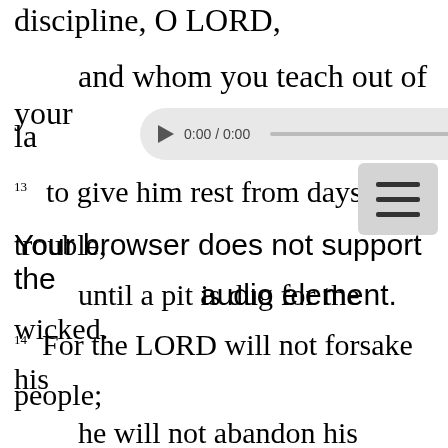discipline, O LORD,
and whom you teach out of your la[w],
[Figure (screenshot): Audio player UI element showing play button, time 0:00 / 0:00, progress bar, volume icon, and menu dots]
13 to give him rest from days of trouble,
Your browser does not support the audio element. until a pit is dug for the wicked.
14 For the LORD will not forsake his people;
he will not abandon his heritage;
15 for justice will return to the righteous,
and all the upright in heart will